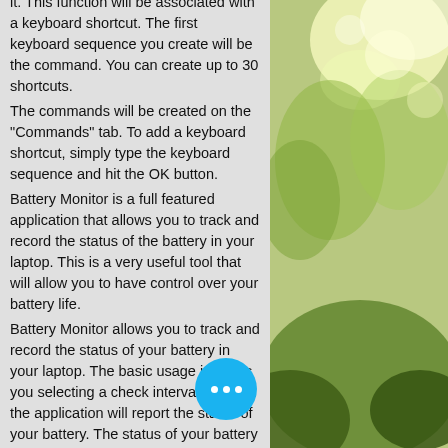it. This function will be associated with a keyboard shortcut. The first keyboard sequence you create will be the command. You can create up to 30 shortcuts. The commands will be created on the "Commands" tab. To add a keyboard shortcut, simply type the keyboard sequence and hit the OK button. Battery Monitor is a full featured application that allows you to track and record the status of the battery in your laptop. This is a very useful tool that will allow you to have control over your battery life. Battery Monitor allows you to track and record the status of your battery in your laptop. The basic usage involves you selecting a check interval to which the application will report the status of your battery. The status of your battery will be shown in the panel you specify, for example the taskbar or desktop. The check intervals can be set between
[Figure (photo): Outdoor nature photo showing sunlit grass and trees with bright bokeh light effects in the background]